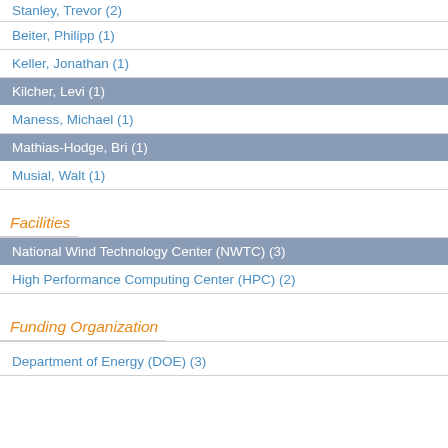Stanley, Trevor (2)
Beiter, Philipp (1)
Keller, Jonathan (1)
Kilcher, Levi (1)
Maness, Michael (1)
Mathias-Hodge, Bri (1)
Musial, Walt (1)
Facilities
National Wind Technology Center (NWTC) (3)
High Performance Computing Center (HPC) (2)
Funding Organization
Department of Energy (DOE) (3)